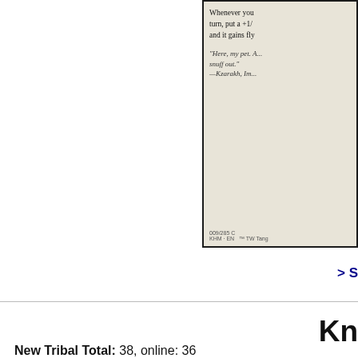[Figure (photo): Partial view of a Magic: The Gathering card (Infernal Pet / Kaldheim set). Shows card text: 'Whenever you turn, put a +1/... and it gains fly...' Flavor text: '"Here, my pet. A... snuff out." —Kzarakh, Im...' Card number: 009/285 C, KHM · EN]
> S...
New Tribal Total: 38, online: 36
Impact of the New Additions: Medium
Highlights: I feel like "cast two" mechanic was a bit of an afte... maybe for the best. For instance, you drop this Infernal Pet on... how it's better than Scathe Zombies. But after that, you proba... your pet Imp. On second though, drawing cards is what wins y... piggybacks on that can't be too bad. Still, it's not exactly landfa...
Kn...